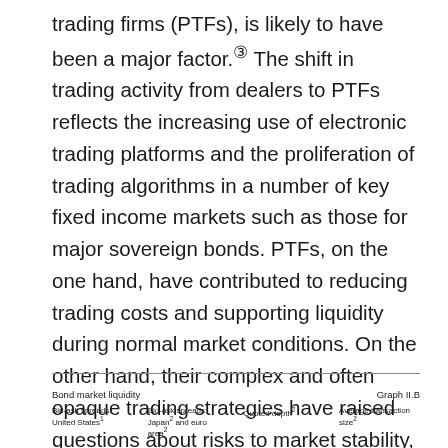trading firms (PTFs), is likely to have been a major factor.③ The shift in trading activity from dealers to PTFs reflects the increasing use of electronic trading platforms and the proliferation of trading algorithms in a number of key fixed income markets such as those for major sovereign bonds. PTFs, on the one hand, have contributed to reducing trading costs and supporting liquidity during normal market conditions. On the other hand, their complex and often opaque trading strategies have raised questions about risks to market stability, and have created challenges for regulators and supervisors.④
Bond market liquidity   Graph II.B   Bid-ask spreads: United States¹   Bid-ask spreads: Japan² and euro area²   Quoted depth²   Average transaction size²